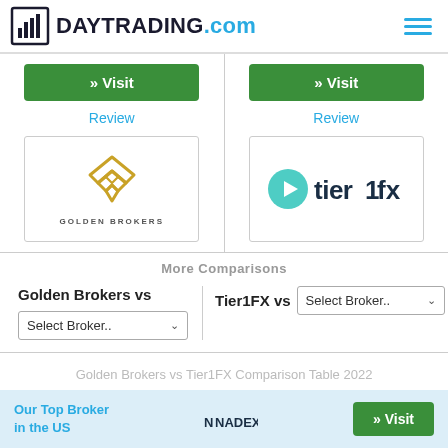DAYTRADING.com
[Figure (logo): Golden Brokers logo – diamond/chevron shape in gold with text GOLDEN BROKERS]
[Figure (logo): Tier1FX logo – teal circle with arrow and tier1fx wordmark]
More Comparisons
Golden Brokers vs
Tier1FX vs
Golden Brokers vs Tier1FX Comparison Table 2022
Our Top Broker in the US  NADEX  » Visit